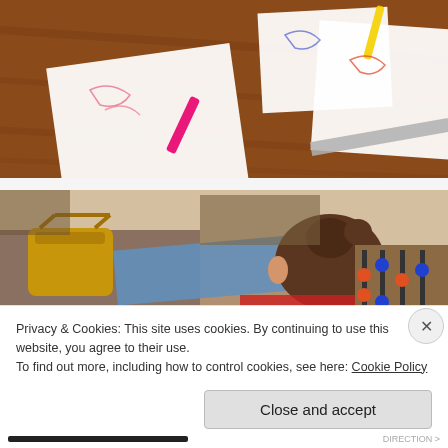[Figure (photo): Overhead view of people drawing on white paper at a wooden table, using colored markers including pink, yellow, and blue pens, with a ruler visible]
[Figure (photo): Child with brown hair in a bun leaning over a blue surface, with a yellow bag visible on the left and a foosball table in the background on the right]
Privacy & Cookies: This site uses cookies. By continuing to use this website, you agree to their use.
To find out more, including how to control cookies, see here: Cookie Policy
Close and accept